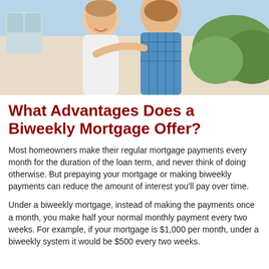[Figure (photo): Smiling older couple outdoors, woman in white top and man in blue plaid shirt, standing close together in front of a house and greenery.]
What Advantages Does a Biweekly Mortgage Offer?
Most homeowners make their regular mortgage payments every month for the duration of the loan term, and never think of doing otherwise. But prepaying your mortgage or making biweekly payments can reduce the amount of interest you'll pay over time.
Under a biweekly mortgage, instead of making the payments once a month, you make half your normal monthly payment every two weeks. For example, if your mortgage is $1,000 per month, under a biweekly system it would be $500 every two weeks.